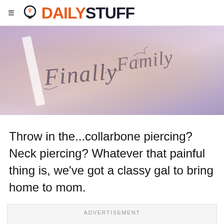DAILYSTUFF
[Figure (photo): Close-up photo of a person's torso/side showing tattoos reading 'Finally' and 'Family' in cursive script on skin, with a white bra strap visible.]
Throw in the...collarbone piercing? Neck piercing? Whatever that painful thing is, we've got a classy gal to bring home to mom.
ADVERTISEMENT